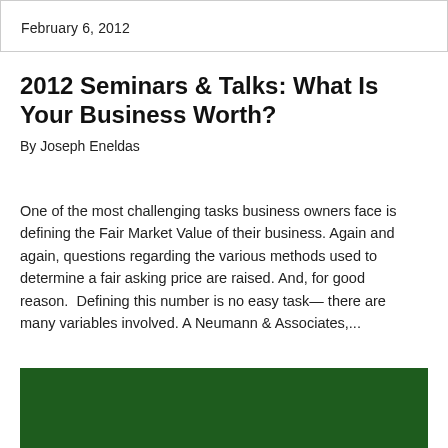February 6, 2012
2012 Seminars & Talks: What Is Your Business Worth?
By Joseph Eneldas
One of the most challenging tasks business owners face is defining the Fair Market Value of their business. Again and again, questions regarding the various methods used to determine a fair asking price are raised. And, for good reason.  Defining this number is no easy task— there are many variables involved. A Neumann & Associates,...
[Figure (other): Dark green rectangular block at the bottom of the page]